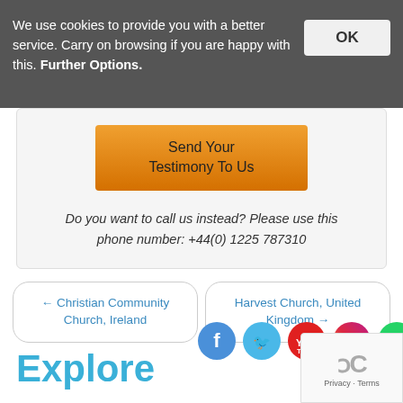We use cookies to provide you with a better service. Carry on browsing if you are happy with this. Further Options.
[Figure (other): Orange gradient button labeled 'Send Your Testimony To Us']
Do you want to call us instead? Please use this phone number: +44(0) 1225 787310
← Christian Community Church, Ireland
Harvest Church, United Kingdom →
[Figure (other): Social media icons: Facebook, Twitter, YouTube, Instagram, WhatsApp]
Explore